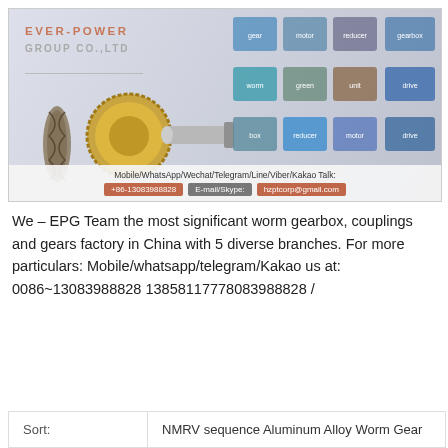[Figure (illustration): Ever-Power Group Co., Ltd banner showing company logo, worm gears, gear rings, and various gearbox product images on the right, with contact information bar at the bottom showing phone number +86-13083988828 and email hzptcorp@gmail.com]
We – EPG Team the most significant worm gearbox, couplings and gears factory in China with 5 diverse branches. For more particulars: Mobile/whatsapp/telegram/Kakao us at: 0086~13083988828 13858117778083988828 /
| Sort: | NMRV sequence Aluminum Alloy Worm Gear... |
| --- | --- |